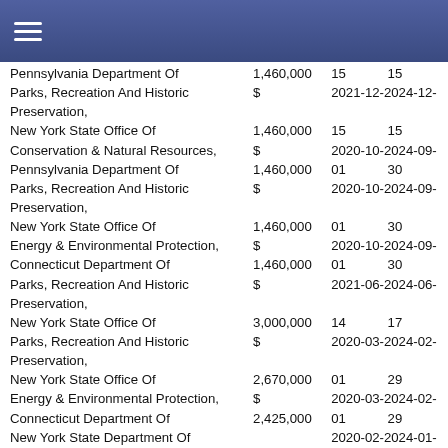Navigation header bar
| Organization | Amount | Start | End |
| --- | --- | --- | --- |
| Pennsylvania Department Of Parks, Recreation And Historic Preservation, | 1,460,000 $ | 2021-12-15 | 2024-12-15 |
| New York State Office Of Conservation & Natural Resources, Pennsylvania Department Of Parks, Recreation And Historic Preservation, | 1,460,000 $ | 2020-10-01 | 2024-09-30 |
| New York State Office Of Energy & Environmental Protection, Connecticut Department Of Parks, Recreation And Historic Preservation, | 1,460,000 $ | 2020-10-01 | 2024-09-30 |
| New York State Office Of Parks, Recreation And Historic Preservation, | 3,000,000 $ | 2021-06-14 | 2024-06-17 |
| Parks, Recreation And Historic Preservation, New York State Office Of Energy & Environmental Protection, Connecticut Department Of | 2,670,000 $ 2,425,000 | 2020-03-01 | 2024-02-29 |
| New York State Department Of Environmental Conservation | 1,896,000 $ | 2020-02-01 | 2024-01-31 |
Search for
1.  Free Disability Grants